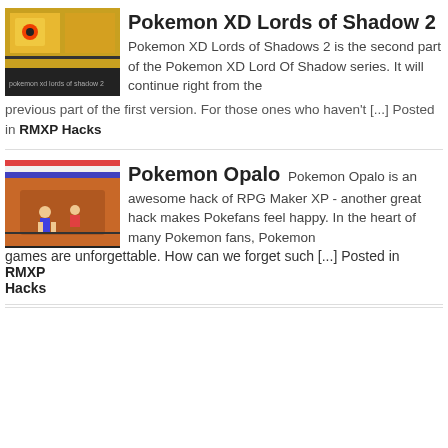Pokemon XD Lords of Shadow 2 Pokemon XD Lords of Shadows 2 is the second part of the Pokemon XD Lord Of Shadow series. It will continue right from the previous part of the first version. For those ones who haven't [...] Posted in RMXP Hacks
Pokemon Opalo Pokemon Opalo is an awesome hack of RPG Maker XP - another great hack makes Pokefans feel happy. In the heart of many Pokemon fans, Pokemon games are unforgettable. How can we forget such [...] Posted in RMXP Hacks